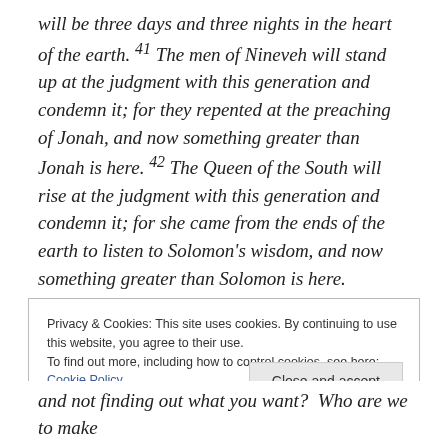will be three days and three nights in the heart of the earth. 41 The men of Nineveh will stand up at the judgment with this generation and condemn it; for they repented at the preaching of Jonah, and now something greater than Jonah is here. 42 The Queen of the South will rise at the judgment with this generation and condemn it; for she came from the ends of the earth to listen to Solomon's wisdom, and now something greater than Solomon is here.
Privacy & Cookies: This site uses cookies. By continuing to use this website, you agree to their use. To find out more, including how to control cookies, see here: Cookie Policy
and not finding out what you want?  Who are we to make